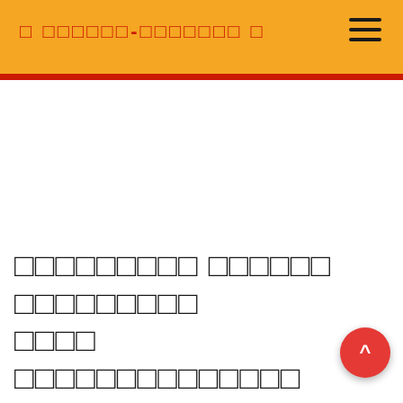□ □□□□□□-□□□□□□□ □
□□□□□□□□□ □□□□□□ □□□□□□□□□ □□□□ □□□□□□□□□□□□□□